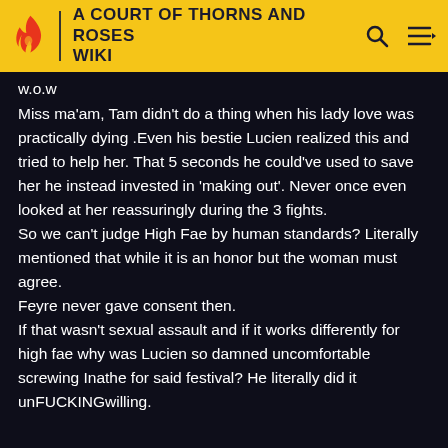A COURT OF THORNS AND ROSES WIKI
w.o.w
Miss ma'am, Tam didn't do a thing when his lady love was practically dying .Even his bestie Lucien realized this and tried to help her. That 5 seconds he could've used to save her he instead invested in 'making out'. Never once even looked at her reassuringly during the 3 fights.
So we can't judge High Fae by human standards? Literally mentioned that while it is an honor but the woman must agree.
Feyre never gave consent then.
If that wasn't sexual assault and if it works differently for high fae why was Lucien so damned uncomfortable screwing Inathe for said festival? He literally did it unFUCKINGwilling.